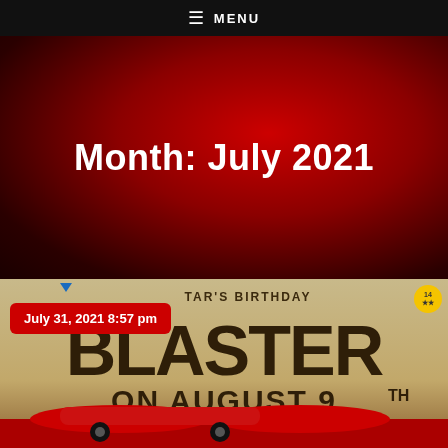≡ MENU
Month: July 2021
[Figure (illustration): Movie promotional poster showing 'Star's Birthday BLASTER ON AUGUST 9TH' text with a red sports car at the bottom, on a sandy/golden background]
July 31, 2021 8:57 pm